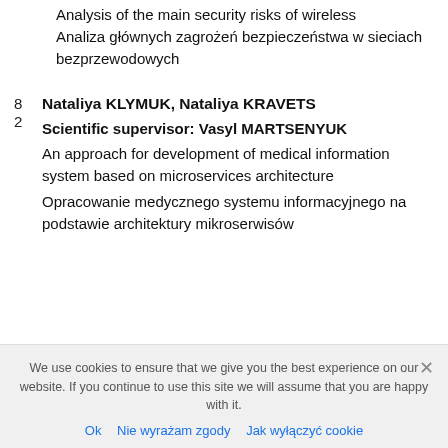Analysis of the main security risks of wireless
Analiza głównych zagrożeń bezpieczeństwa w sieciach bezprzewodowych
8
2
Nataliya KLYMUK, Nataliya KRAVETS
Scientific supervisor: Vasyl MARTSENYUK
An approach for development of medical information system based on microservices architecture
Opracowanie medycznego systemu informacyjnego na podstawie architektury mikroserwisów
We use cookies to ensure that we give you the best experience on our website. If you continue to use this site we will assume that you are happy with it.
Ok   Nie wyrażam zgody   Jak wyłączyć cookie